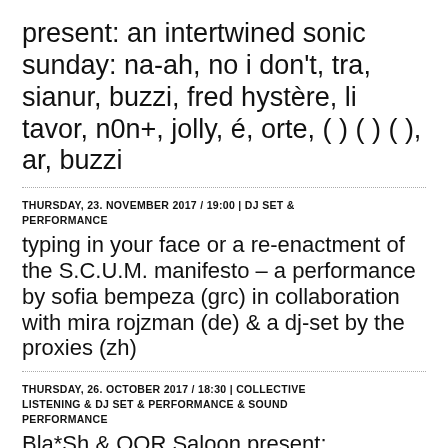present: an intertwined sonic sunday: na-ah, no i don't, tra, sianur, buzzi, fred hystère, li tavor, n0n+, jolly, é, orte, ( ) ( ) ( ), ar, buzzi
THURSDAY, 23. NOVEMBER 2017 / 19:00 | DJ SET & PERFORMANCE
typing in your face or a re-enactment of the S.C.U.M. manifesto – a performance by sofia bempeza (grc) in collaboration with mira rojzman (de) & a dj-set by the proxies (zh)
THURSDAY, 26. OCTOBER 2017 / 18:30 | COLLECTIVE LISTENING & DJ SET & PERFORMANCE & SOUND PERFORMANCE
Bla*Sh & OOR Saloon present: REMEMBER SHE* LOVES
With: Sassy Black (US), TRA (SA), Amina Abdulkadir (CH), Scarlett (CH)